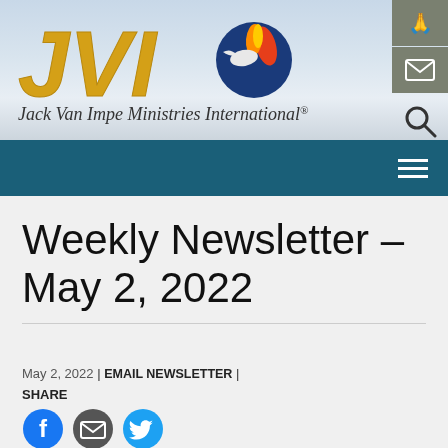[Figure (logo): JVI Jack Van Impe Ministries International logo with flame/dove emblem on blue circle, gold italic JMI letters, and sky background]
Weekly Newsletter – May 2, 2022
May 2, 2022 | EMAIL NEWSLETTER |
SHARE